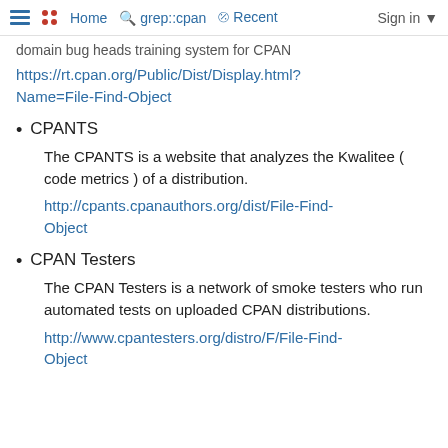Home  grep::cpan  Recent  Sign in
domain bug heads training system for CPAN
https://rt.cpan.org/Public/Dist/Display.html?Name=File-Find-Object
CPANTS
The CPANTS is a website that analyzes the Kwalitee ( code metrics ) of a distribution.
http://cpants.cpanauthors.org/dist/File-Find-Object
CPAN Testers
The CPAN Testers is a network of smoke testers who run automated tests on uploaded CPAN distributions.
http://www.cpantesters.org/distro/F/File-Find-Object